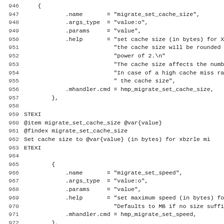946-978: Source code listing showing QEMU HMP migrate_set_cache_size and migrate_set_speed command definitions with STEXI/ETEXI documentation blocks